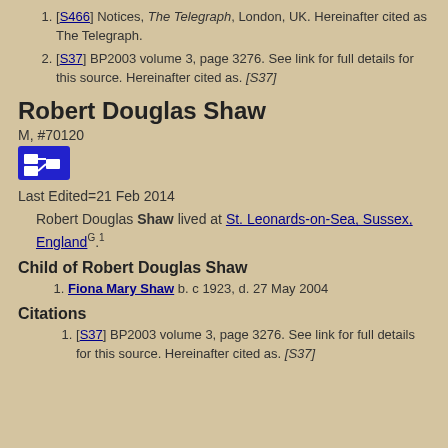[S466] Notices, The Telegraph, London, UK. Hereinafter cited as The Telegraph.
[S37] BP2003 volume 3, page 3276. See link for full details for this source. Hereinafter cited as. [S37]
Robert Douglas Shaw
M, #70120
Last Edited=21 Feb 2014
Robert Douglas Shaw lived at St. Leonards-on-Sea, Sussex, England G.1
Child of Robert Douglas Shaw
Fiona Mary Shaw b. c 1923, d. 27 May 2004
Citations
[S37] BP2003 volume 3, page 3276. See link for full details for this source. Hereinafter cited as. [S37]